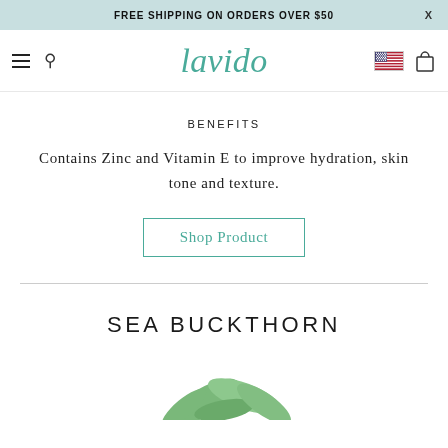FREE SHIPPING ON ORDERS OVER $50
[Figure (logo): Lavido brand logo in teal italic script font]
BENEFITS
Contains Zinc and Vitamin E to improve hydration, skin tone and texture.
Shop Product
SEA BUCKTHORN
[Figure (illustration): Green plant leaves visible at the bottom of the page]